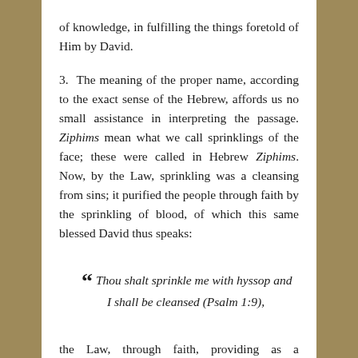of knowledge, in fulfilling the things foretold of Him by David.
3. The meaning of the proper name, according to the exact sense of the Hebrew, affords us no small assistance in interpreting the passage. Ziphims mean what we call sprinklings of the face; these were called in Hebrew Ziphims. Now, by the Law, sprinkling was a cleansing from sins; it purified the people through faith by the sprinkling of blood, of which this same blessed David thus speaks:
“ Thou shalt sprinkle me with hyssop and I shall be cleansed (Psalm 1:9),
the Law, through faith, providing as a temporary